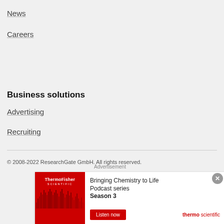News
Careers
Business solutions
Advertising
Recruiting
© 2008-2022 ResearchGate GmbH. All rights reserved.
[Figure (other): Advertisement banner for ThermoFisher Scientific: Bringing Chemistry to Life Podcast series Season 3 with Listen now button and thermo scientific logo]
Advertisement